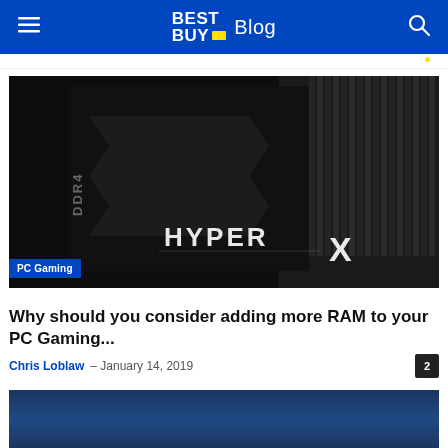BEST BUY Blog
[Figure (photo): Close-up photo of a HyperX DDR4 RAM stick installed in a PC, with the text 'DDR4' and 'HYPERX' visible on the dark heatspreader, with a CPU cooler visible in the background. A 'PC Gaming' category badge is overlaid at the bottom left.]
Why should you consider adding more RAM to your PC Gaming...
Chris Loblaw – January 14, 2019
[Figure (photo): Partial view of another article image, showing a blue-tinted PC gaming related photo at the bottom of the page.]